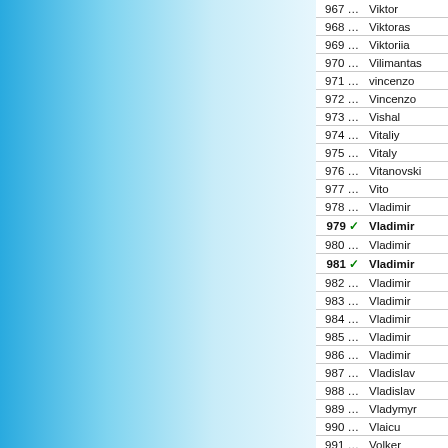| # |  | First Name | Last Name |
| --- | --- | --- | --- |
| 966 … |  | Viktor | Syzonenko |
| 967 … |  | Viktor | Syzonenko |
| 968 … |  | Viktoras | Paliulionis |
| 969 … |  | Viktoriia | Kirchei |
| 970 … |  | Vilimantas | Satkus |
| 971 … |  | vincenzo | tinebra |
| 972 … |  | Vincenzo | Bonanni |
| 973 … |  | Vishal | Bollineni |
| 974 … |  | Vitaliy | Duzenko |
| 975 … |  | Vitaly | Medintsev |
| 976 … |  | Vitanovski | Borislav |
| 977 … |  | Vito | Rallo |
| 978 … |  | Vladimir | Koči |
| 979 ✓ |  | Vladimir | Tyapkin |
| 980 … |  | Vladimir | Bartosh |
| 981 ✓ |  | Vladimir | Podinic |
| 982 … |  | Vladimir | Alexandrov |
| 983 … |  | Vladimir | Franovic |
| 984 … |  | Vladimir | Aridov |
| 985 … |  | Vladimir | Kuzmichev |
| 986 … |  | Vladimir | Makhnev |
| 987 … |  | Vladislav | Nefyodov |
| 988 … |  | Vladislav | Kiselev |
| 989 … |  | Vladymyr | Pogorelov |
| 990 … |  | Vlaicu | Crisan |
| 991 … |  | Volker | Gülke |
| 992 … |  | Volodymyr | Pogoryelov |
| 993 … |  | Voly | Rjordjevic |